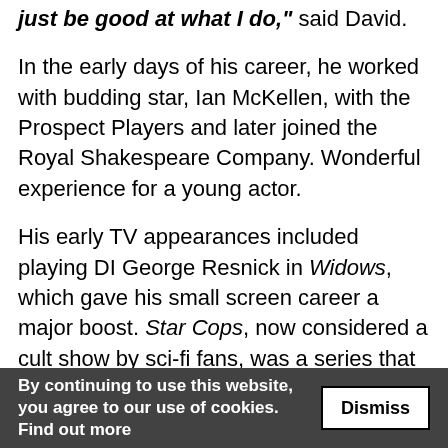just be good at what I do," said David.
In the early days of his career, he worked with budding star, Ian McKellen, with the Prospect Players and later joined the Royal Shakespeare Company. Wonderful experience for a young actor.
His early TV appearances included playing DI George Resnick in Widows, which gave his small screen career a major boost. Star Cops, now considered a cult show by sci-fi fans, was a series that David considers the BBC should have done more with. It never reached its true potential.
Following guest appearances in all the major shows, from Cracker, via Boon and Bergerac, he was suddenly in the brilliant hit series Bramwell. He was cast as Dr Robert Bramwell, alongside his on-screen daughter Eleanor, played by Jemma Redgrave. That was compulsive viewing, and rarely for reasons.
By continuing to use this website, you agree to our use of cookies. Find out more   Dismiss